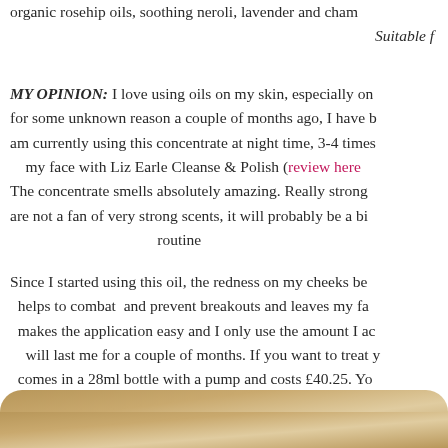organic rosehip oils, soothing neroli, lavender and chamomile.
Suitable f
MY OPINION: I love using oils on my skin, especially on my face, but for some unknown reason a couple of months ago, I have been breaking out. I am currently using this concentrate at night time, 3-4 times a week, after cleansing my face with Liz Earle Cleanse & Polish (review here). The concentrate smells absolutely amazing. Really strong floral scent. If you are not a fan of very strong scents, it will probably be a bit overwhelming. It has become part of my routine.
Since I started using this oil, the redness on my cheeks became less noticeable, it helps to combat and prevent breakouts and leaves my face feeling. The pump makes the application easy and I only use the amount I actually need, so this will last me for a couple of months. If you want to treat yourself or someone, it comes in a 28ml bottle with a pump and costs £40.25. You can try a sample out, before y
[Figure (illustration): Gold/tan rounded rectangle banner at the bottom of the page]